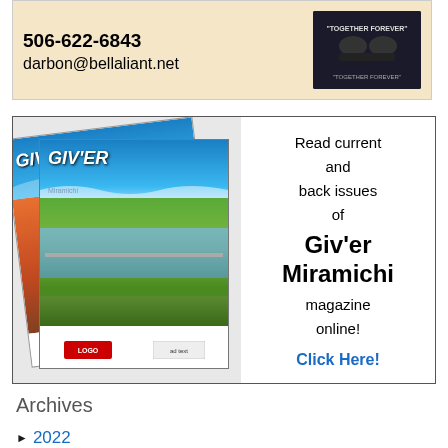[Figure (infographic): Top advertisement banner with beige background showing phone number 506-622-6843, email darbon@bellaliant.net, and a dark patch/badge on the right side reading 'Together Forever']
[Figure (infographic): Magazine advertisement with border showing two GIV'ER Miramichi magazine covers on the left (aerial photo of city and river with bridge) and promotional text on the right: 'Read current and back issues of Giv'er Miramichi magazine online! Click Here!']
Archives
2022